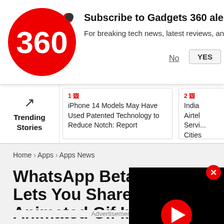Subscribe to Gadgets 360 alerts — For breaking tech news, latest reviews, and more
No | YES
[Figure (infographic): Trending Stories section with trending arrow icon, two story cards: 1) iPhone 14 Models May Have Used Patented Technology to Reduce Notch: Report, 2) India Airtel Servi... Cities]
Home > Apps > Apps News
WhatsApp Beta for A... Lets You Share Video Animated Gif Images
[Figure (screenshot): Black video player overlay with red play button circle and white triangle]
Advertisement